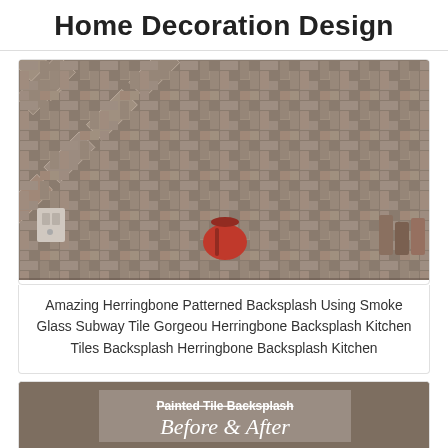Home Decoration Design
[Figure (photo): Herringbone patterned tile backsplash in a kitchen using smoke glass subway tiles, neutral brown/gray tones with white grout lines. A red kettle and outlet are visible.]
Amazing Herringbone Patterned Backsplash Using Smoke Glass Subway Tile Gorgeou Herringbone Backsplash Kitchen Tiles Backsplash Herringbone Backsplash Kitchen
[Figure (photo): Before and after comparison of a painted tile backsplash in a kitchen. The before shows brown/tan tiles with a decorative center tile; the after shows white painted tiles. A 'Painted Tile Backsplash Before & After' overlay is shown.]